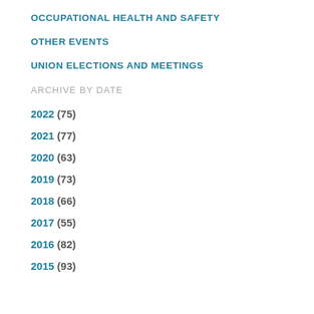OCCUPATIONAL HEALTH AND SAFETY
OTHER EVENTS
UNION ELECTIONS AND MEETINGS
ARCHIVE BY DATE
2022 (75)
2021 (77)
2020 (63)
2019 (73)
2018 (66)
2017 (55)
2016 (82)
2015 (93)